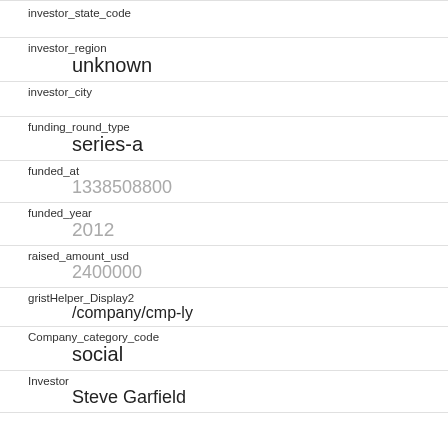investor_state_code
investor_region
unknown
investor_city
funding_round_type
series-a
funded_at
1338508800
funded_year
2012
raised_amount_usd
2400000
gristHelper_Display2
/company/cmp-ly
Company_category_code
social
Investor
Steve Garfield